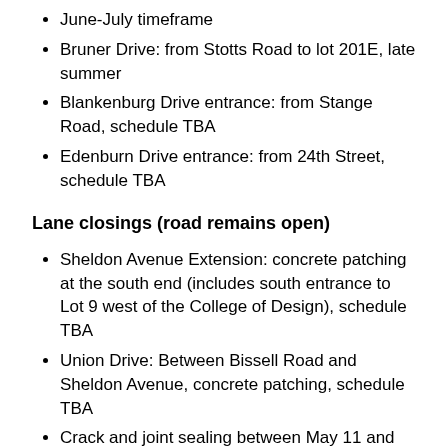June-July timeframe
Bruner Drive: from Stotts Road to lot 201E, late summer
Blankenburg Drive entrance: from Stange Road, schedule TBA
Edenburn Drive entrance: from 24th Street, schedule TBA
Lane closings (road remains open)
Sheldon Avenue Extension: concrete patching at the south end (includes south entrance to Lot 9 west of the College of Design), schedule TBA
Union Drive: Between Bissell Road and Sheldon Avenue, concrete patching, schedule TBA
Crack and joint sealing between May 11 and Aug. 7: Pammel, Osborn and Union drives, University Boulevard, Wallace, Morrill, Haber, Veenker Golf and Bissell roads, State and Hayward avenues. The goal is to complete much of this work in the early